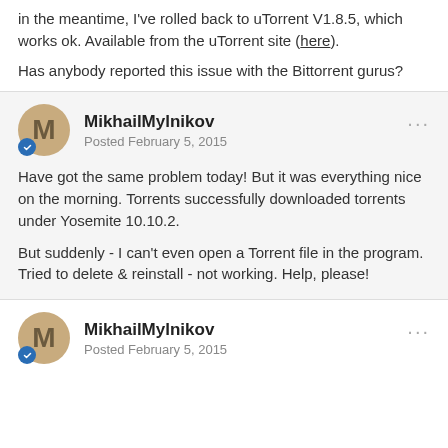in the meantime, I've rolled back to uTorrent V1.8.5, which works ok. Available from the uTorrent site (here).
Has anybody reported this issue with the Bittorrent gurus?
MikhailMylnikov
Posted February 5, 2015
Have got the same problem today! But it was everything nice on the morning. Torrents successfully downloaded torrents under Yosemite 10.10.2.

But suddenly - I can't even open a Torrent file in the program. Tried to delete & reinstall - not working. Help, please!
MikhailMylnikov
Posted February 5, 2015